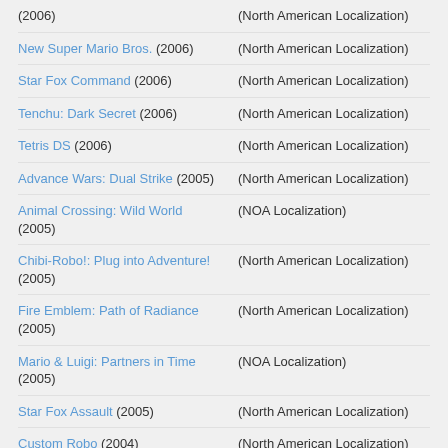(2006) | (North American Localization)
New Super Mario Bros. (2006) | (North American Localization)
Star Fox Command (2006) | (North American Localization)
Tenchu: Dark Secret (2006) | (North American Localization)
Tetris DS (2006) | (North American Localization)
Advance Wars: Dual Strike (2005) | (North American Localization)
Animal Crossing: Wild World (2005) | (NOA Localization)
Chibi-Robo!: Plug into Adventure! (2005) | (North American Localization)
Fire Emblem: Path of Radiance (2005) | (North American Localization)
Mario & Luigi: Partners in Time (2005) | (NOA Localization)
Star Fox Assault (2005) | (North American Localization)
Custom Robo (2004) | (North American Localization)